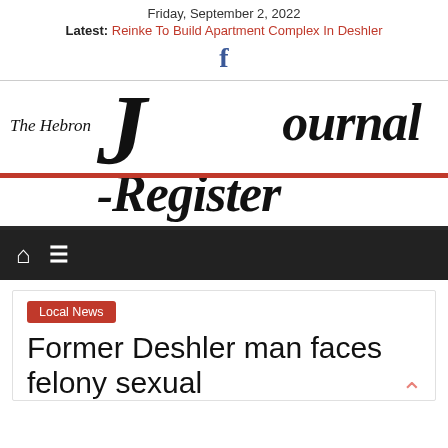Friday, September 2, 2022
Latest: Reinke To Build Apartment Complex In Deshler
[Figure (logo): Facebook 'f' logo icon in blue]
[Figure (logo): The Hebron Journal-Register newspaper masthead logo with red rule]
[Figure (other): Navigation bar with home icon and hamburger menu icon on dark background]
Local News
Former Deshler man faces felony sexual